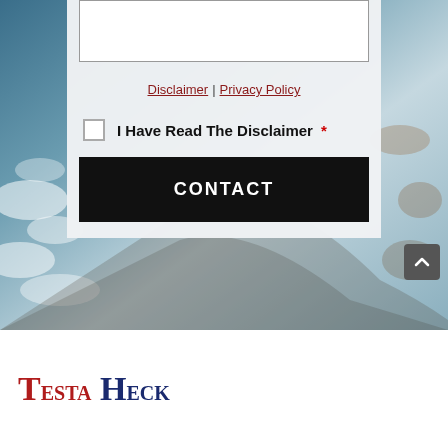[Figure (photo): Aerial ocean/coastal photo background with waves and shoreline]
Disclaimer | Privacy Policy
I Have Read The Disclaimer *
CONTACT
Testa Heck